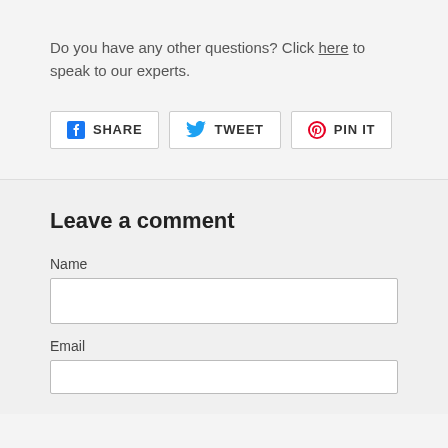Do you have any other questions? Click here to speak to our experts.
SHARE  TWEET  PIN IT
Leave a comment
Name
Email